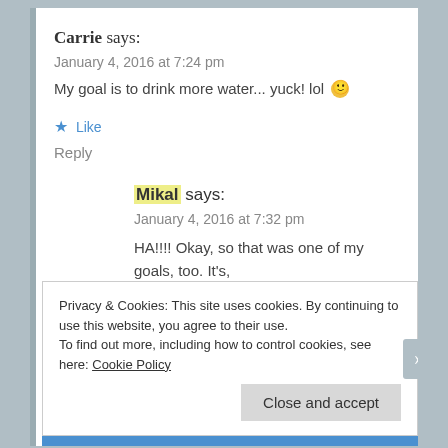Carrie says:
January 4, 2016 at 7:24 pm
My goal is to drink more water... yuck! lol 🙂
★ Like
Reply
Mikal says:
January 4, 2016 at 7:32 pm
HA!!!! Okay, so that was one of my goals, too. It's, what, four days into the year? Yeah. Goal NOT
Privacy & Cookies: This site uses cookies. By continuing to use this website, you agree to their use.
To find out more, including how to control cookies, see here: Cookie Policy
Close and accept